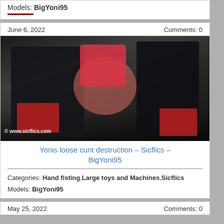Models: BigYoni95
June 6, 2022   Comments: 0
[Figure (photo): Photo thumbnail with watermark © www.sicflics.com]
Yonis loose cunt destruction – Sicflics – BigYoni95
Categories: Hand fisting,Large toys and Machines,Sicflics
Models: BigYoni95
May 25, 2022   Comments: 0